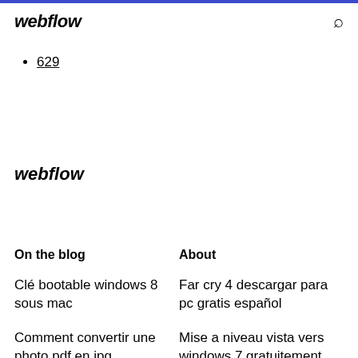webflow
629
webflow
On the blog
About
Clé bootable windows 8 sous mac
Far cry 4 descargar para pc gratis español
Comment convertir une photo pdf en jpg
Mise a niveau vista vers windows 7 gratuitement